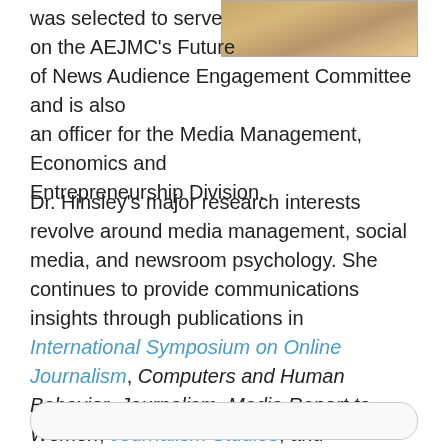[Figure (photo): Partial photo of a woman with blonde hair, cropped at top-right of page]
was selected to serve on the AEJMC's Future of News Audience Engagement Committee and is also an officer for the Media Management, Economics and Entrepreneurship Division.
Dr. Hinsley's major research interests revolve around media management, social media, and newsroom psychology. She continues to provide communications insights through publications in International Symposium on Online Journalism, Computers and Human Behavior, Journalism, Media Report to Women, Journalism Studies, and Newspaper Research Journal.